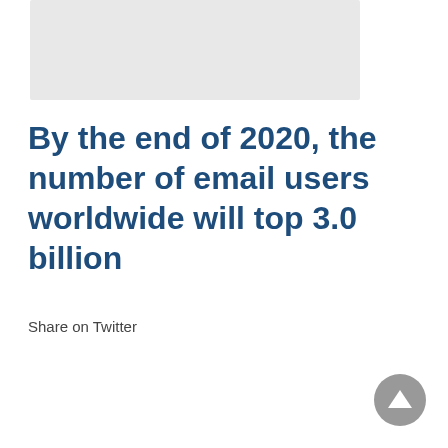[Figure (other): Gray placeholder image at top of page]
By the end of 2020, the number of email users worldwide will top 3.0 billion
Share on Twitter
[Figure (other): Gray circular scroll-to-top button with upward-pointing triangle]